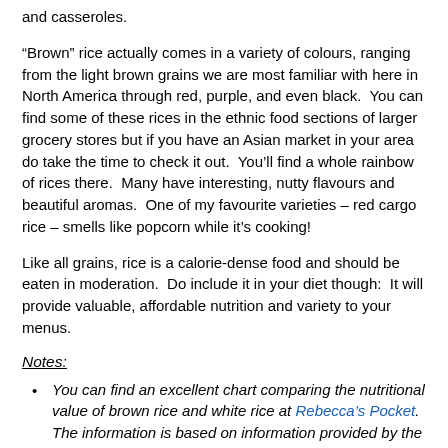and casseroles.
“Brown” rice actually comes in a variety of colours, ranging from the light brown grains we are most familiar with here in North America through red, purple, and even black.  You can find some of these rices in the ethnic food sections of larger grocery stores but if you have an Asian market in your area do take the time to check it out.  You’ll find a whole rainbow of rices there.  Many have interesting, nutty flavours and beautiful aromas.  One of my favourite varieties – red cargo rice – smells like popcorn while it’s cooking!
Like all grains, rice is a calorie-dense food and should be eaten in moderation.  Do include it in your diet though:  It will provide valuable, affordable nutrition and variety to your menus.
Notes:
You can find an excellent chart comparing the nutritional value of brown rice and white rice at Rebecca’s Pocket.  The information is based on information provided by the USDA nutritional